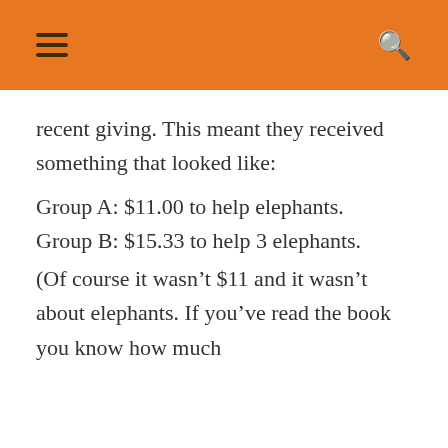≡  🔍
recent giving. This meant they received something that looked like:
Group A: $11.00 to help elephants.
Group B: $15.33 to help 3 elephants.
(Of course it wasn't $11 and it wasn't about elephants. If you've read the book you know how much